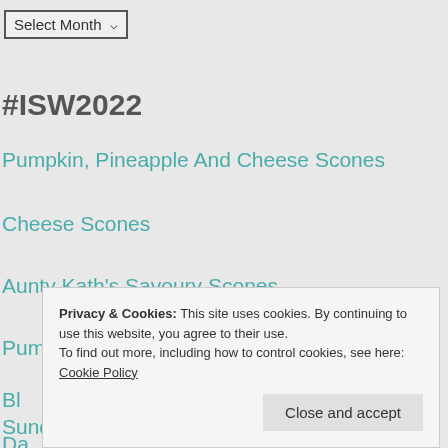Select Month ▾
#ISW2022
Pumpkin, Pineapple And Cheese Scones
Cheese Scones
Aunty Kath's Savoury Scones
Pumpkin Scones
Bl...
Da...
Sunday Scones
Privacy & Cookies: This site uses cookies. By continuing to use this website, you agree to their use.
To find out more, including how to control cookies, see here: Cookie Policy
Close and accept